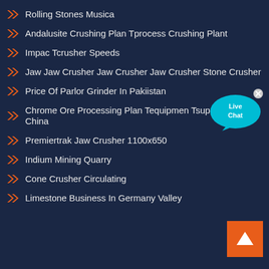Rolling Stones Musica
Andalusite Crushing Plan Tprocess Crushing Plant
Impac Tcrusher Speeds
Jaw Jaw Crusher Jaw Crusher Jaw Crusher Stone Crusher
Price Of Parlor Grinder In Pakiistan
Chrome Ore Processing Plan Tequipmen Tsupplier In China
Premiertrak Jaw Crusher 1100x650
Indium Mining Quarry
Cone Crusher Circulating
Limestone Business In Germany Valley